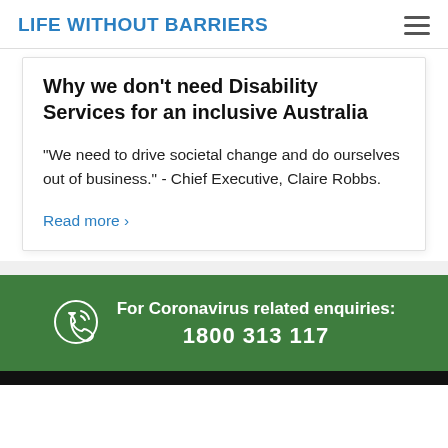LIFE WITHOUT BARRIERS
Why we don't need Disability Services for an inclusive Australia
"We need to drive societal change and do ourselves out of business." - Chief Executive, Claire Robbs.
Read more ›
For Coronavirus related enquiries: 1800 313 117